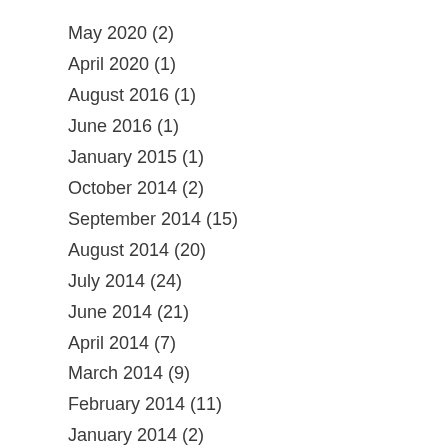May 2020 (2)
April 2020 (1)
August 2016 (1)
June 2016 (1)
January 2015 (1)
October 2014 (2)
September 2014 (15)
August 2014 (20)
July 2014 (24)
June 2014 (21)
April 2014 (7)
March 2014 (9)
February 2014 (11)
January 2014 (2)